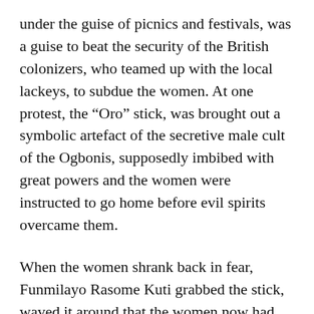under the guise of picnics and festivals, was a guise to beat the security of the British colonizers, who teamed up with the local lackeys, to subdue the women. At one protest, the “Oro” stick, was brought out a symbolic artefact of the secretive male cult of the Ogbonis, supposedly imbibed with great powers and the women were instructed to go home before evil spirits overcame them.
When the women shrank back in fear, Funmilayo Rasome Kuti grabbed the stick, waved it around that the women now had the power before taking it with her displaying it prominently in her home. This action gave her, a reputation of fearlessness and courage, which led 20,000 women to follow